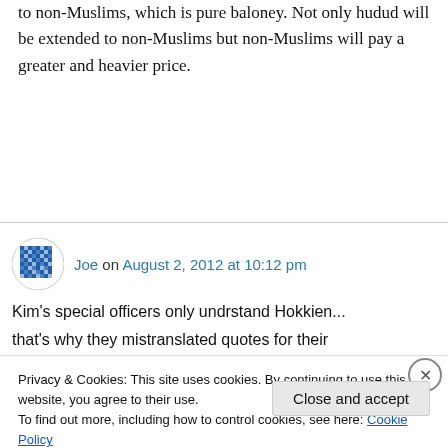to non-Muslims, which is pure baloney. Not only hudud will be extended to non-Muslims but non-Muslims will pay a greater and heavier price.
Joe on August 2, 2012 at 10:12 pm
Kim's special officers only undrstand Hokkien...
that's why they mistranslated quotes for their
Privacy & Cookies: This site uses cookies. By continuing to use this website, you agree to their use.
To find out more, including how to control cookies, see here: Cookie Policy